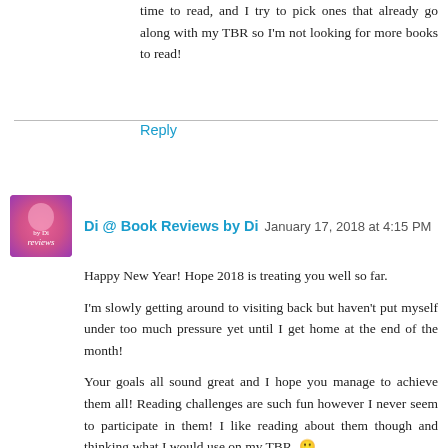time to read, and I try to pick ones that already go along with my TBR so I'm not looking for more books to read!
Reply
Di @ Book Reviews by Di  January 17, 2018 at 4:15 PM
Happy New Year! Hope 2018 is treating you well so far.
I'm slowly getting around to visiting back but haven't put myself under too much pressure yet until I get home at the end of the month!
Your goals all sound great and I hope you manage to achieve them all! Reading challenges are such fun however I never seem to participate in them! I like reading about them though and thinking what I would use on my TBR. 🙂
Talking about travelling sounds like fun too - I love seeing stories about bloggers irl.. I think that's why I also love